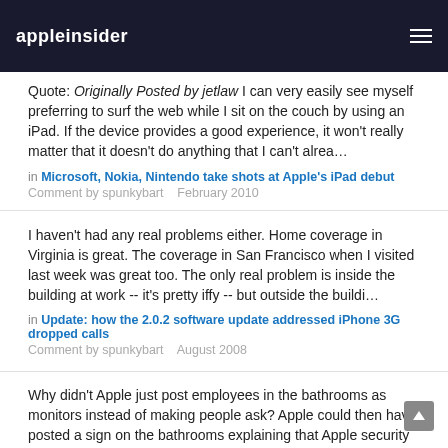appleinsider
Quote: Originally Posted by jetlaw I can very easily see myself preferring to surf the web while I sit on the couch by using an iPad. If the device provides a good experience, it won't really matter that it doesn't do anything that I can't alrea…
in Microsoft, Nokia, Nintendo take shots at Apple's iPad debut  Comment by spunkybart   February 2010
I haven't had any real problems either. Home coverage in Virginia is great. The coverage in San Francisco when I visited last week was great too. The only real problem is inside the building at work -- it's pretty iffy -- but outside the buildi…
in Update: how the 2.0.2 software update addressed iPhone 3G dropped calls   Comment by spunkybart   August 2008
Why didn't Apple just post employees in the bathrooms as monitors instead of making people ask? Apple could then have posted a sign on the bathrooms explaining that Apple security employees were present in to monitor against pre leaks. Th…